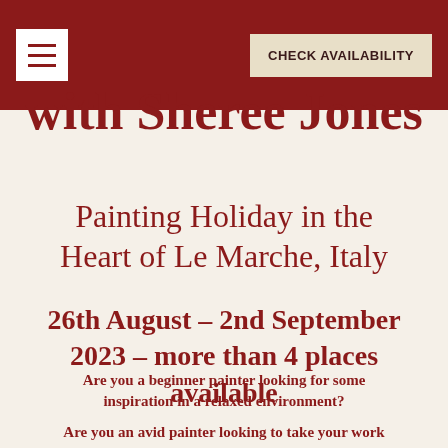CHECK AVAILABILITY
with Sheree Jones
Painting Holiday in the Heart of Le Marche, Italy
26th August – 2nd September 2023 – more than 4 places available
Are you a beginner painter looking for some inspiration in a relaxed environment?
Are you an avid painter looking to take your work